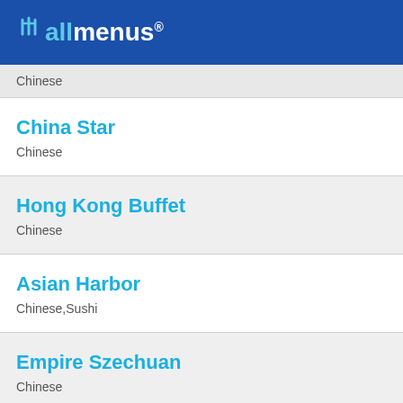allmenus
Chinese
China Star
Chinese
Hong Kong Buffet
Chinese
Asian Harbor
Chinese,Sushi
Empire Szechuan
Chinese